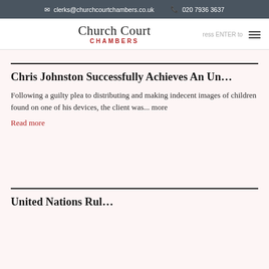clerks@churchcourtchambers.co.uk  020 7936 3637
[Figure (logo): Church Court Chambers logo with serif text 'Church Court' and red 'CHAMBERS' below, with hamburger menu icon]
Chris Johnston Successfully Achieves An Un…
Following a guilty plea to distributing and making indecent images of children found on one of his devices, the client was... more
Read more
United NationsRul... (truncated)
SHORTLIST ( 0